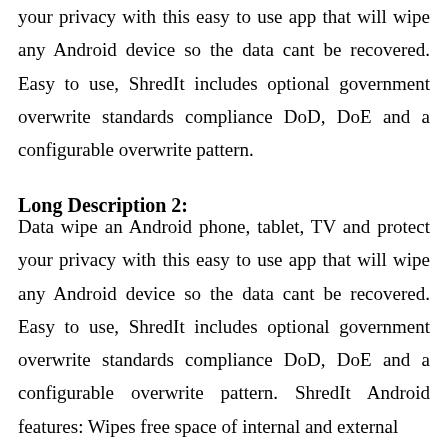your privacy with this easy to use app that will wipe any Android device so the data cant be recovered. Easy to use, ShredIt includes optional government overwrite standards compliance DoD, DoE and a configurable overwrite pattern.
Long Description 2:
Data wipe an Android phone, tablet, TV and protect your privacy with this easy to use app that will wipe any Android device so the data cant be recovered. Easy to use, ShredIt includes optional government overwrite standards compliance DoD, DoE and a configurable overwrite pattern. ShredIt Android features: Wipes free space of internal and external